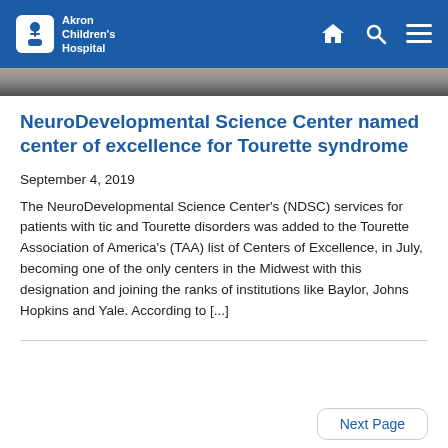Akron Children's Hospital
NeuroDevelopmental Science Center named center of excellence for Tourette syndrome
September 4, 2019
The NeuroDevelopmental Science Center's (NDSC) services for patients with tic and Tourette disorders was added to the Tourette Association of America's (TAA) list of Centers of Excellence, in July, becoming one of the only centers in the Midwest with this designation and joining the ranks of institutions like Baylor, Johns Hopkins and Yale. According to [...]
Next Page